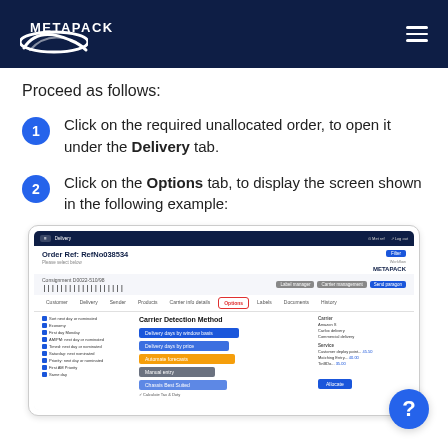METAPACK
Proceed as follows:
1. Click on the required unallocated order, to open it under the Delivery tab.
2. Click on the Options tab, to display the screen shown in the following example:
[Figure (screenshot): Screenshot of Metapack application showing Order Ref: RefNo038534, with the Options tab selected. The screen shows a Carrier Detection Method panel with several blue buttons for delivery options, carrier and service details on the right, and a list of delivery service checkboxes on the left.]